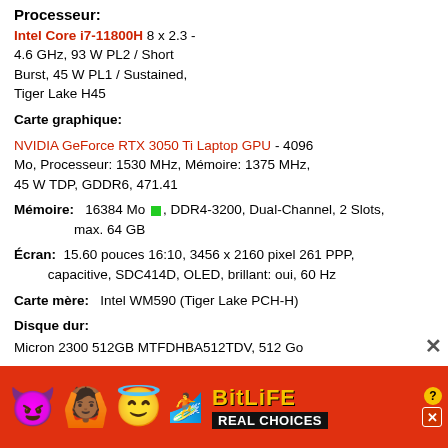Processeur:
Intel Core i7-11800H 8 x 2.3 - 4.6 GHz, 93 W PL2 / Short Burst, 45 W PL1 / Sustained, Tiger Lake H45
Carte graphique:
NVIDIA GeForce RTX 3050 Ti Laptop GPU - 4096 Mo, Processeur: 1530 MHz, Mémoire: 1375 MHz, 45 W TDP, GDDR6, 471.41
Mémoire:  16384 Mo [green], DDR4-3200, Dual-Channel, 2 Slots, max. 64 GB
Écran:  15.60 pouces 16:10, 3456 x 2160 pixel 261 PPP, capacitive, SDC414D, OLED, brillant: oui, 60 Hz
Carte mère:  Intel WM590 (Tiger Lake PCH-H)
Disque dur:
Micron 2300 512GB MTFDHBA512TDV, 512 Go
[Figure (infographic): BitLife advertisement banner with demon emoji, person emoji, angel emoji, sperm emoji, BitLife logo with question mark and X close button, and 'REAL CHOICES' tagline on red background]